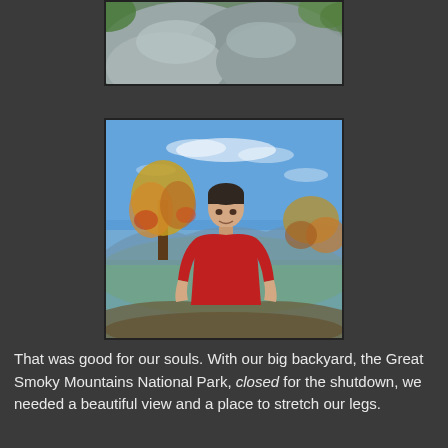[Figure (photo): Partial view of large gray rocks, top portion of photo cropped]
[Figure (photo): A young man in a red t-shirt standing on a mountain overlook with autumn trees and a wide valley view in the background, blue sky with light clouds]
That was good for our souls. With our big backyard, the Great Smoky Mountains National Park, closed for the shutdown, we needed a beautiful view and a place to stretch our legs.